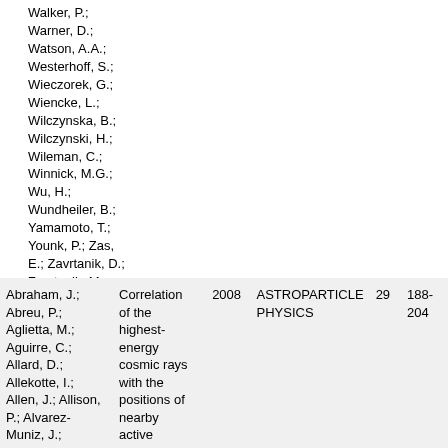Walker, P.; Warner, D.; Watson, A.A.; Westerhoff, S.; Wieczorek, G.; Wiencke, L.; Wilczynska, B.; Wilczynski, H.; Wileman, C.; Winnick, M.G.; Wu, H.; Wundheiler, B.; Yamamoto, T.; Younk, P.; Zas, E.; Zavrtanik, D.; Zavrtanik, M.; Zech, A.; Zepeda, A.; Holkowski, M.
| Authors | Title | Year | Journal | Vol | Pages |
| --- | --- | --- | --- | --- | --- |
| Abraham, J.; Abreu, P.; Aglietta, M.; Aguirre, C.; Allard, D.; Allekotte, I.; Allen, J.; Allison, P.; Alvarez-Muniz, J.; Ambrosio, M.; Anchordoqui, L.; Andringa, S.; Anzalone, A.; Aramo, C.; Argiro, S.; Arisaka, K.; Armengaud, E.; Arneodo, F. | Correlation of the highest-energy cosmic rays with the positions of nearby active galactic nuclei | 2008 | ASTROPARTICLE PHYSICS | 29 | 188-204 |